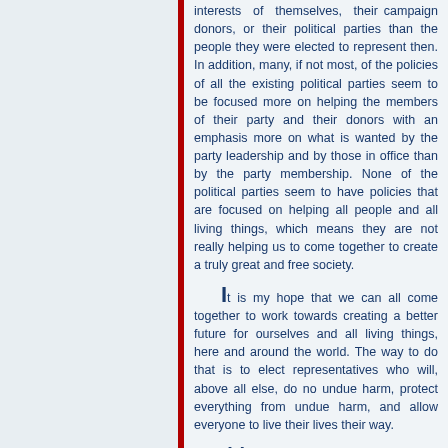interests of themselves, their campaign donors, or their political parties than the people they were elected to represent then. In addition, many, if not most, of the policies of all the existing political parties seem to be focused more on helping the members of their party and their donors with an emphasis more on what is wanted by the party leadership and by those in office than by the party membership. None of the political parties seem to have policies that are focused on helping all people and all living things, which means they are not really helping us to come together to create a truly great and free society.
It is my hope that we can all come together to work towards creating a better future for ourselves and all living things, here and around the world. The way to do that is to elect representatives who will, above all else, do no undue harm, protect everything from undue harm, and allow everyone to live their lives their way.
Problems